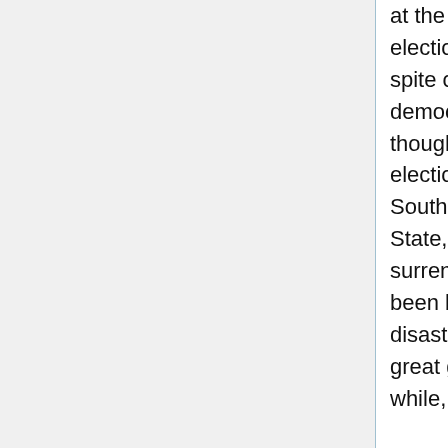at the consideration in Congress of the bill for the popular election of Senators: when the Southern Congressmen, in spite of the fact that they were unanimously in favor of this democratic measure, refused to accept conditions which, they thought, might bring about national interference with State elections. This sentiment is probably as strong to-day in the South as it ever was - that the ballot must come from the State, be under its control and regulation, and never be surrendered to the national government. That conviction has been burnt deep into our brains by the misfortunes and disasters we had in the sorrowful days of reconstruction. With great good sense the woman suffragists of the country, as a while, have proceeded on these lines and have